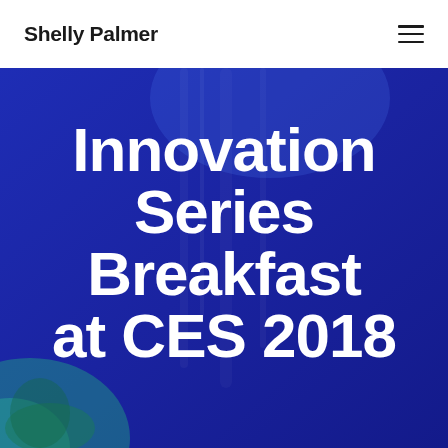Shelly Palmer
[Figure (photo): Hero banner with deep blue background and green-lit figure at bottom left, featuring large white bold text overlay reading 'Innovation Series Breakfast at CES 2018']
Innovation Series Breakfast at CES 2018